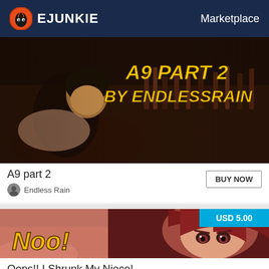EJUNKIE  Marketplace
[Figure (screenshot): Dark bar scene photo with text overlay 'A9 PART 2 BY ENDLESSRAIN' in yellow stylized font]
A9 part 2
Endless Rain
[Figure (illustration): Anime illustration showing a red-haired girl with text 'Noo!' in yellow, price badge USD 5.00]
Oops!! I Shrunk My Niece!